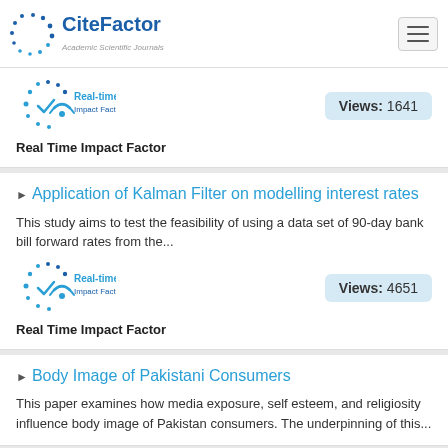CiteFactor — Academic Scientific Journals
[Figure (logo): Real-time Impact Factor logo with circular dot pattern and wifi symbol]
Views: 1641
Real Time Impact Factor
Application of Kalman Filter on modelling interest rates
This study aims to test the feasibility of using a data set of 90-day bank bill forward rates from the...
[Figure (logo): Real-time Impact Factor logo with circular dot pattern and wifi symbol]
Views: 4651
Real Time Impact Factor
Body Image of Pakistani Consumers
This paper examines how media exposure, self esteem, and religiosity influence body image of Pakistan consumers. The underpinning of this...